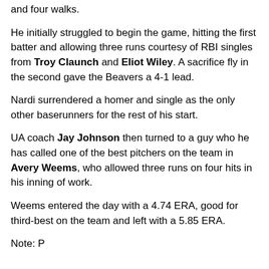and four walks.
He initially struggled to begin the game, hitting the first batter and allowing three runs courtesy of RBI singles from Troy Claunch and Eliot Wiley. A sacrifice fly in the second gave the Beavers a 4-1 lead.
Nardi surrendered a homer and single as the only other baserunners for the rest of his start.
UA coach Jay Johnson then turned to a guy who he has called one of the best pitchers on the team in Avery Weems, who allowed three runs on four hits in his inning of work.
Weems entered the day with a 4.74 ERA, good for third-best on the team and left with a 5.85 ERA.
Note: Page is cut off at the bottom — additional text continues below.